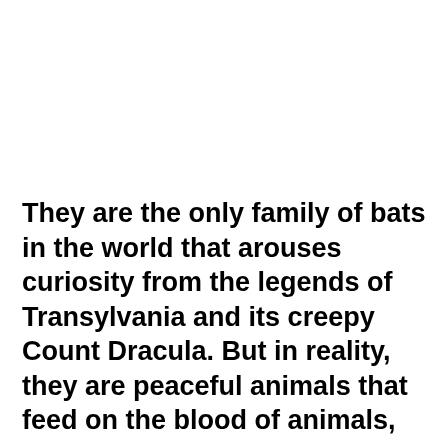They are the only family of bats in the world that arouses curiosity from the legends of Transylvania and its creepy Count Dracula. But in reality, they are peaceful animals that feed on the blood of animals,